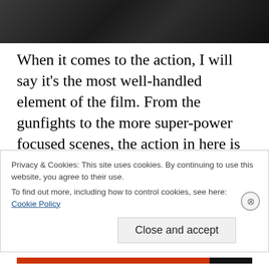[Figure (photo): Dark photograph strip showing what appears to be a weapon or camera equipment against a dark background]
When it comes to the action, I will say it’s the most well-handled element of the film. From the gunfights to the more super-power focused scenes, the action in here is quite tense and I found myself thoroughly enjoying all of most of these scenes. What really works is that in this world, power-enabled individuals aren’t treated like gods who are invulnerable. They can be shot and killed just
Privacy & Cookies: This site uses cookies. By continuing to use this website, you agree to their use.
To find out more, including how to control cookies, see here:
Cookie Policy
Close and accept